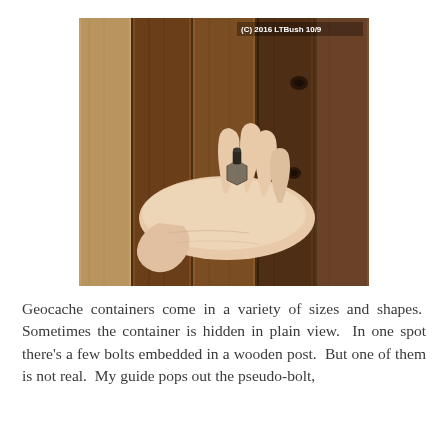[Figure (photo): A hand holding a small bolt/nut (pseudo-bolt geocache container) in front of a wooden post with planks. Copyright (C) 2016 LTBush 10/9 shown in upper right.]
Geocache containers come in a variety of sizes and shapes.  Sometimes the container is hidden in plain view.  In one spot there's a few bolts embedded in a wooden post.  But one of them is not real.  My guide pops out the pseudo-bolt,